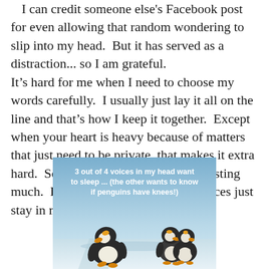I can credit someone else's Facebook post for even allowing that random wondering to slip into my head.  But it has served as a distraction... so I am grateful.
It's hard for me when I need to choose my words carefully.  I usually just lay it all on the line and that's how I keep it together.  Except when your heart is heavy because of matters that just need to be private, that makes it extra hard.  So that is why I haven't been posting much.  But without my writing the voices just stay in my head, and then...
[Figure (illustration): Humorous image of three penguins on an icy surface with blue gradient sky background. White text overlay reads: '3 out of 4 voices in my head want to sleep ... (the other wants to know if penguins have knees!)']